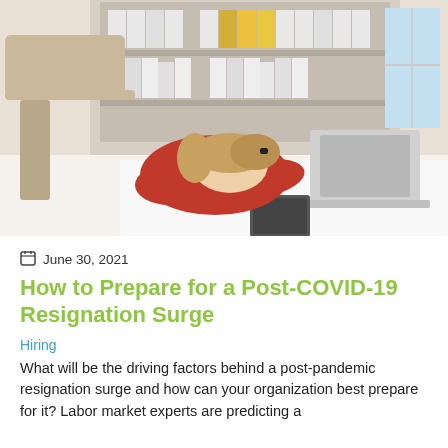[Figure (photo): A woman in a red sweater with blonde hair resting her head face-down on a white desk next to an open laptop, with a bookshelf of binders in the background — depicting workplace exhaustion or burnout.]
June 30, 2021
How to Prepare for a Post-COVID-19 Resignation Surge
Hiring
What will be the driving factors behind a post-pandemic resignation surge and how can your organization best prepare for it? Labor market experts are predicting a